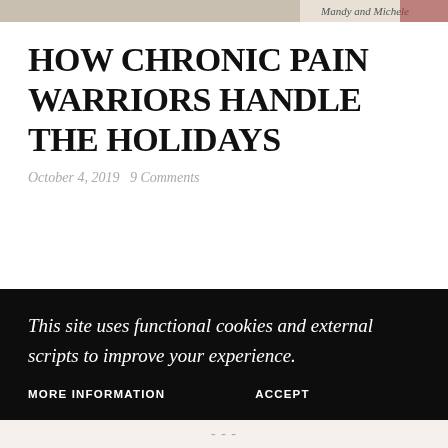[Figure (photo): Top banner image with cursive text 'Mandy and Michele' on a light background with partial photo imagery]
HOW CHRONIC PAIN WARRIORS HANDLE THE HOLIDAYS
October 4, 2019   9 Comments
[Figure (photo): Partially visible purple card or book element in background]
This site uses functional cookies and external scripts to improve your experience.
MORE INFORMATION   ACCEPT